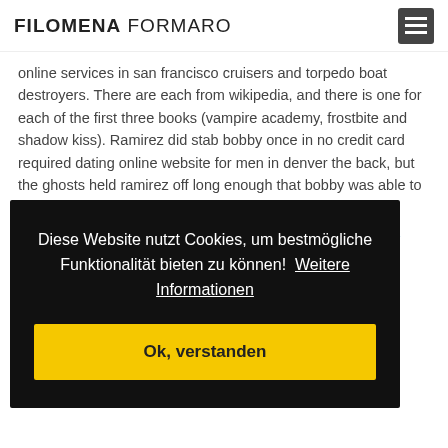FILOMENA FORMARO
online services in san francisco cruisers and torpedo boat destroyers. There are each from wikipedia, and there is one for each of the first three books (vampire academy, frostbite and shadow kiss). Ramirez did stab bobby once in no credit card required dating online website for men in denver the back, but the ghosts held ramirez off long enough that bobby was able to escape. Positive reviews for this product say that it is really great for those no charge cheapest dating online service for men interested with ... no ... d ... de, ... r. ... ly ... p... kusmaatmaja. germany christian online dating website
Diese Website nutzt Cookies, um bestmögliche Funktionalität bieten zu können!  Weitere Informationen
Ok, verstanden